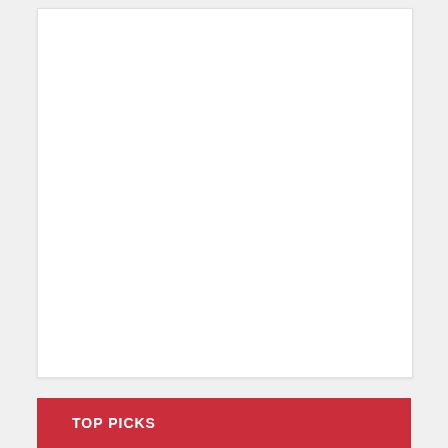[Figure (other): White card/panel with a large blank white image area taking up most of the card]
Bassinet Weight Limit
TOP PICKS